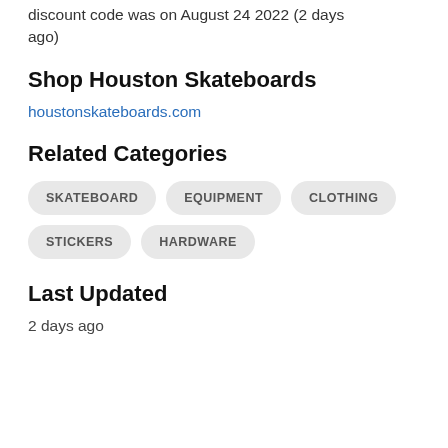discount code was on August 24 2022 (2 days ago)
Shop Houston Skateboards
houstonskateboards.com
Related Categories
SKATEBOARD
EQUIPMENT
CLOTHING
STICKERS
HARDWARE
Last Updated
2 days ago